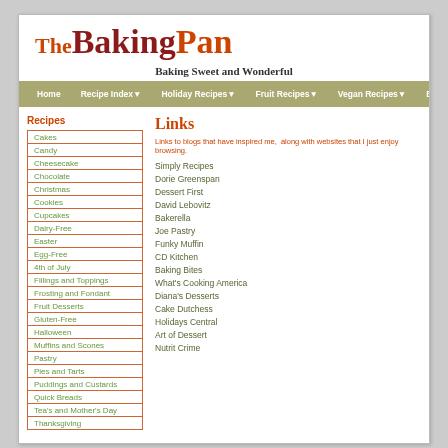The Baking Pan
Baking Sweet and Wonderful
Home  Recipe Index  Holiday Recipes  Fruit Recipes  Vegan Recipes  Baking Tips
Recipes
Cakes
Candy
Cheesecake
Chocolate
Christmas
Cookies
Cupcakes
Dairy-Free
Easter
Egg-Free
4th of July
Fillings and Toppings
Frosting and Fondant
Fruit Desserts
Gluten-Free
Halloween
Muffins and Scones
Pastry
Pies and Tarts
Puddings and Custards
Quick Breads
Tea's and Mother's Day
Thanksgiving
Links
Links to blogs that have inspired me,  along with websites that I just enjoy browsing.
Simply Recipes
Dorie Greenspan
Dessert First
David Lebovitz
Bakerella
Joe Pastry
Funky Muffin
CD Kitchen
Baking Bites
What's Cooking America
Diana's Desserts
Cake Dutchess
Holidays Central
Art of Dessert
Nutrit Crime